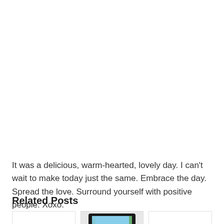It was a delicious, warm-hearted, lovely day. I can't wait to make today just the same. Embrace the day. Spread the love. Surround yourself with positive people. Xoxo.
Related Posts
[Figure (photo): Three related post thumbnails in a row: a blank white card on the left, a tablet device showing a green nature/food image in the center, and a blank white card on the right. A scroll-to-top button is visible in the bottom right corner.]